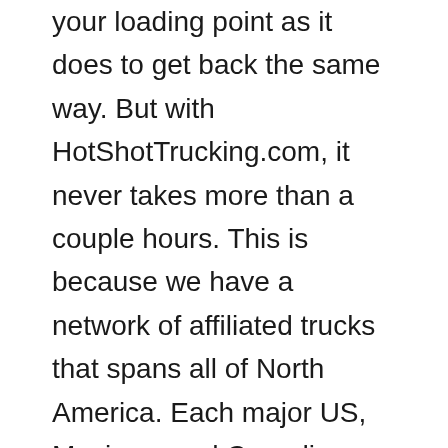your loading point as it does to get back the same way. But with HotShotTrucking.com, it never takes more than a couple hours. This is because we have a network of affiliated trucks that spans all of North America. Each major US, Mexican, and Canadian metro area has some of our trucks in it, meaning no starting point is more than a short drive away. By skipping most of the initial journey, we divide the total delivery time nearly in two and ensure that most of our time is spent getting from the loading point